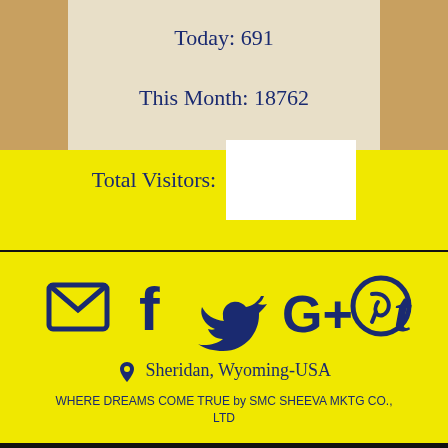Today: 691
This Month: 18762
Total Visitors:
[Figure (infographic): Social media icons row: email envelope, Facebook f, Twitter bird, Google+, Pinterest P, Tumblr t — all in dark navy blue on yellow background]
Sheridan, Wyoming-USA
WHERE DREAMS COME TRUE by SMC SHEEVA MKTG CO., LTD